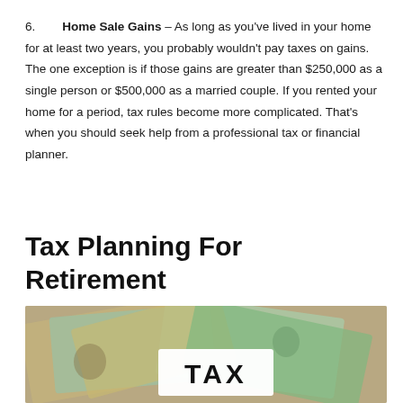6. Home Sale Gains – As long as you've lived in your home for at least two years, you probably wouldn't pay taxes on gains. The one exception is if those gains are greater than $250,000 as a single person or $500,000 as a married couple. If you rented your home for a period, tax rules become more complicated. That's when you should seek help from a professional tax or financial planner.
Tax Planning For Retirement
[Figure (photo): Photo of US dollar bills spread out with a white sign displaying the word TAX in bold black letters on top]